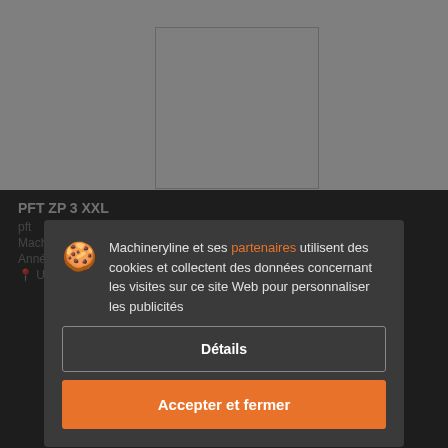[Figure (photo): Empty white image placeholder for product photo]
PFT ZP 3 XXL
pft...
Machine: ...
Année: 2...
Ukraine, Stryi
Machineryline et ses partenaires utilisent des cookies et collectent des données concernant les visites sur ce site Web pour personnaliser les publicités
Détails
Accepter et fermer